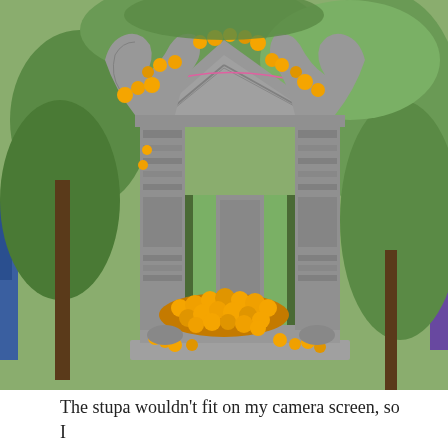[Figure (photo): A ornate stone stupa/shrine decorated with orange marigold flowers and garlands. The structure has intricate carved details with dragon/naga figures at the top corners, columns on the sides, and orange marigold flowers piled inside and around the base. Green trees and foliage are visible in the background. Partial views of colorful objects (blue and purple/pink) are visible at the left and right edges.]
The stupa wouldn't fit on my camera screen, so I